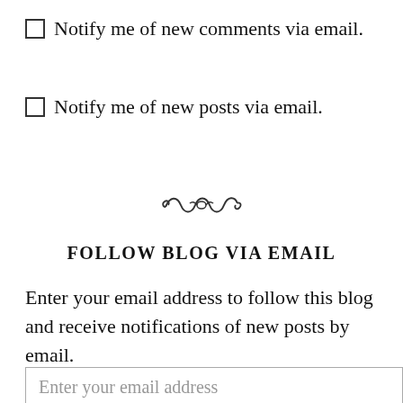Notify me of new comments via email.
Notify me of new posts via email.
[Figure (illustration): Decorative ornamental divider flourish]
FOLLOW BLOG VIA EMAIL
Enter your email address to follow this blog and receive notifications of new posts by email.
Enter your email address